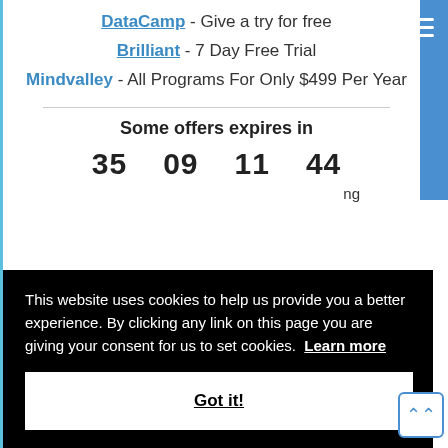DataCamp - Give a try for free
Brilliant - 7 Day Free Trial
Mindvalley - All Programs For Only $499 Per Year
Some offers expires in
35  09  11  44
This website uses cookies to help us provide you a better experience. By clicking any link on this page you are giving your consent for us to set cookies. Learn more
Got it!